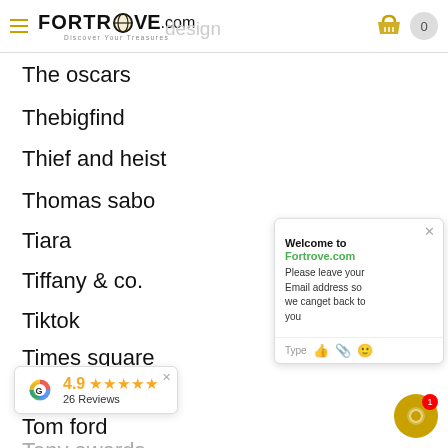FORTROVE.com — Discover Your Treasures
The oscars
Thebigfind
Thief and heist
Thomas sabo
Tiara
Tiffany & co.
Tiktok
Times square
Timex
Tom ford
Tony awards
Welcome to Fortrove.com
Please leave your Email address so we canget back to you
4.9 ★★★★★
26 Reviews